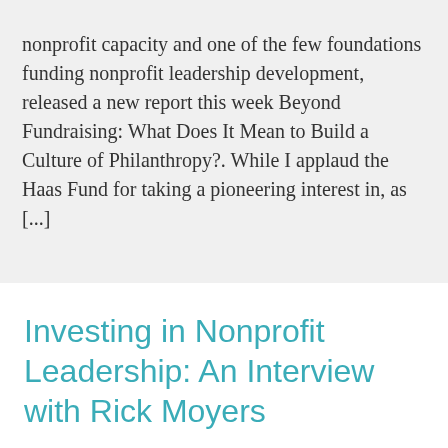nonprofit capacity and one of the few foundations funding nonprofit leadership development, released a new report this week Beyond Fundraising: What Does It Mean to Build a Culture of Philanthropy?. While I applaud the Haas Fund for taking a pioneering interest in, as [...]
Investing in Nonprofit Leadership: An Interview with Rick Moyers
September 15, 2014 By Nell Edgington — 1 Comment
In this month's Social Velocity interview, I'm talking with Rick Moyers, vice president for programs and